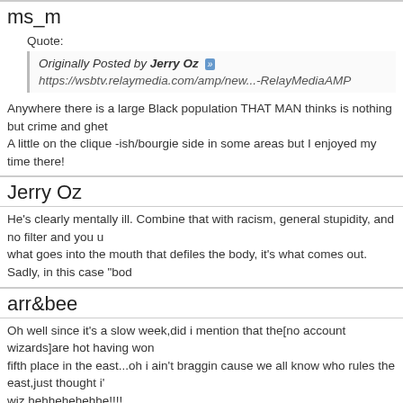ms_m
Quote: Originally Posted by Jerry Oz
https://wsbtv.relaymedia.com/amp/new...-RelayMediaAMP
Anywhere there is a large Black population THAT MAN thinks is nothing but crime and ghet... A little on the clique -ish/bourgie side in some areas but I enjoyed my time there!
Jerry Oz
He's clearly mentally ill. Combine that with racism, general stupidity, and no filter and you u... what goes into the mouth that defiles the body, it's what comes out. Sadly, in this case "bod...
arr&bee
Oh well since it's a slow week,did i mention that the[no account wizards]are hot having won... fifth place in the east...oh i ain't braggin cause we all know who rules the east,just thought i'... wiz,hehhehehehhe!!!!
Jerry Oz
Keep hope alive. Had the Rednecks made the playoffs, it means that all four of your profess...